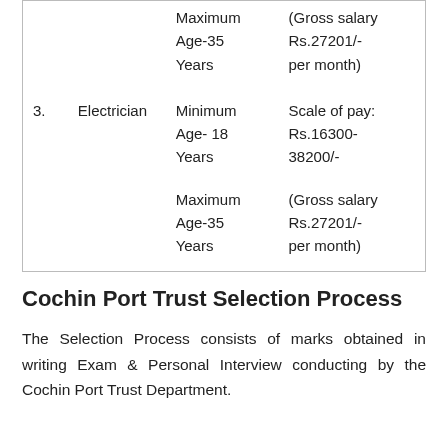| No. | Post | Age | Pay |
| --- | --- | --- | --- |
|  |  | Maximum Age-35 Years | (Gross salary Rs.27201/- per month) |
| 3. | Electrician | Minimum Age- 18 Years | Scale of pay: Rs.16300-38200/- |
|  |  | Maximum Age-35 Years | (Gross salary Rs.27201/- per month) |
Cochin Port Trust Selection Process
The Selection Process consists of marks obtained in writing Exam & Personal Interview conducting by the Cochin Port Trust Department.